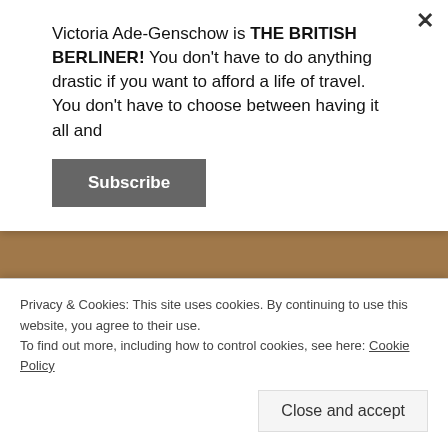Victoria Ade-Genschow is THE BRITISH BERLINER! You don't have to do anything drastic if you want to afford a life of travel. You don't have to choose between having it all and
Subscribe
Eek!
p.s If you're booking hotels, houses and
Privacy & Cookies: This site uses cookies. By continuing to use this website, you agree to their use.
To find out more, including how to control cookies, see here: Cookie Policy
Close and accept